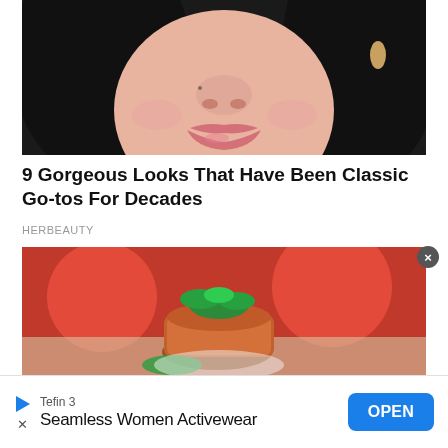[Figure (photo): Close-up photo of a young Asian woman's face showing her nose and lips, with dark hair, natural makeup, and gold earrings visible]
9 Gorgeous Looks That Have Been Classic Go-tos For Decades
HERBEAUTY
[Figure (photo): Close-up photo of a food dish — appears to be a molded tomato-based dish or aspic garnished with fresh green herbs, with blurred red tomatoes in the background]
Tefin 3
Seamless Women Activewear
OPEN